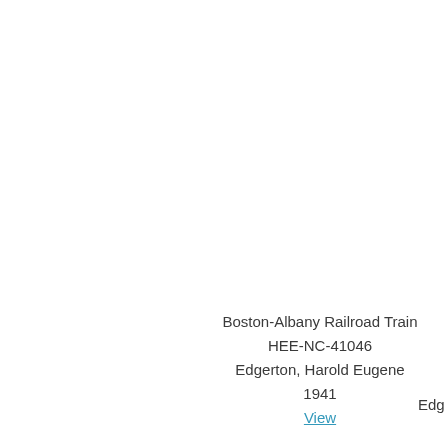Boston-Albany Railroad Train
HEE-NC-41046
Edgerton, Harold Eugene
1941
View
Edg
Rodeo